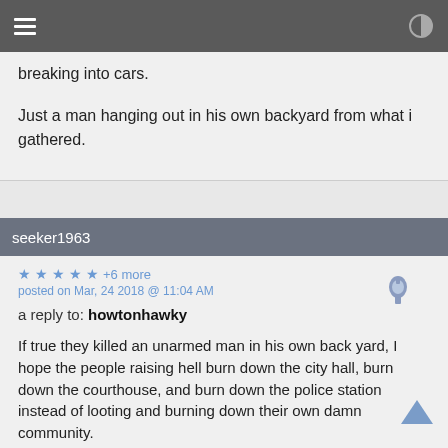breaking into cars.

Just a man hanging out in his own backyard from what i gathered.
seeker1963
★ ★ ★ ★ ★ +6 more
posted on Mar, 24 2018 @ 11:04 AM
a reply to: howtonhawky
If true they killed an unarmed man in his own back yard, I hope the people raising hell burn down the city hall, burn down the courthouse, and burn down the police station instead of looting and burning down their own damn community.